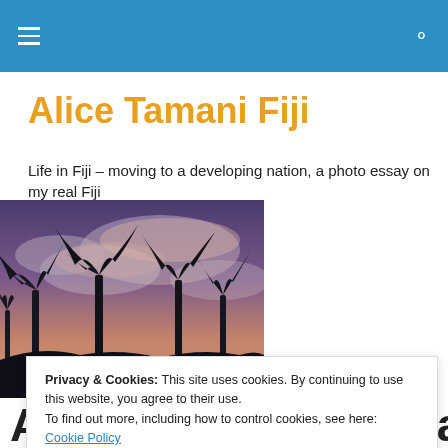Alice Tamani Fiji
Life in Fiji – moving to a developing nation, a photo essay on my real Fiji
[Figure (photo): Silhouettes of palm trees against a dramatic purple and pink sunset sky with clouds]
Privacy & Cookies: This site uses cookies. By continuing to use this website, you agree to their use.
To find out more, including how to control cookies, see here: Cookie Policy
Aubergine or Eggplant Curr